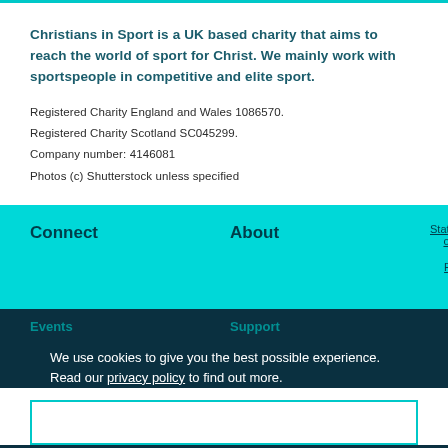Christians in Sport is a UK based charity that aims to reach the world of sport for Christ. We mainly work with sportspeople in competitive and elite sport.
Registered Charity England and Wales 1086570.
Registered Charity Scotland SC045299.
Company number: 4146081
Photos (c) Shutterstock unless specified
Connect
About
Statement of Faith
Privacy Policy
Events
Support
We use cookies to give you the best possible experience. Read our privacy policy to find out more.
GOT IT